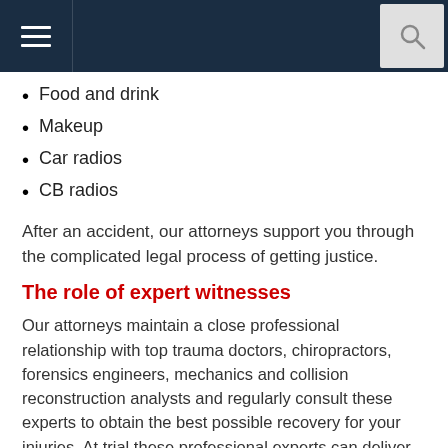[Navigation bar with hamburger menu and search icon]
Food and drink
Makeup
Car radios
CB radios
After an accident, our attorneys support you through the complicated legal process of getting justice.
The role of expert witnesses
Our attorneys maintain a close professional relationship with top trauma doctors, chiropractors, forensics engineers, mechanics and collision reconstruction analysts and regularly consult these experts to obtain the best possible recovery for your injuries. At trial these professional experts can deliver compelling testimony to help jurors understand the cause of the accident as well as the nature and extent of your injuries.
Support when you need it most